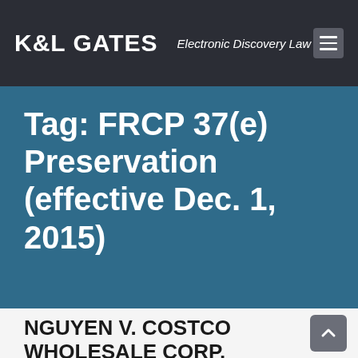K&L GATES  Electronic Discovery Law
Tag: FRCP 37(e) Preservation (effective Dec. 1, 2015)
NGUYEN V. COSTCO WHOLESALE CORP.